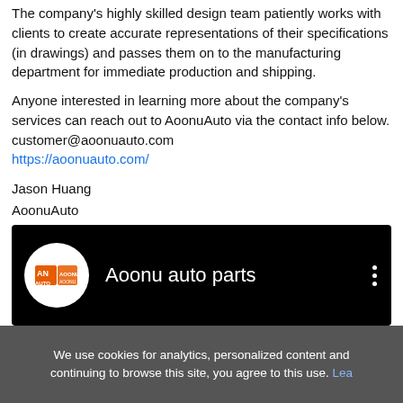The company's highly skilled design team patiently works with clients to create accurate representations of their specifications (in drawings) and passes them on to the manufacturing department for immediate production and shipping.
Anyone interested in learning more about the company's services can reach out to AoonuAuto via the contact info below.
customer@aoonuauto.com
https://aoonuauto.com/
Jason Huang
AoonuAuto
+1 209-323-1979
email us here
Visit us on social media:
Facebook
Twitter
Other
[Figure (screenshot): Video card showing Aoonu auto parts YouTube channel with logo circle on black background and three-dot menu icon]
We use cookies for analytics, personalized content and continuing to browse this site, you agree to this use. Lea...